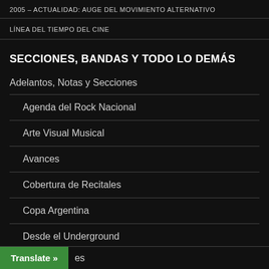2005 – ACTUALIDAD: AUGE DEL MOVIMIENTO ALTERNATIVO
LÍNEA DEL TIEMPO DEL CINE
SECCIONES, BANDAS Y TODO LO DEMÁS
Adelantos, Notas y Secciones
Agenda del Rock Nacional
Arte Visual Musical
Avances
Cobertura de Recitales
Copa Argentina
Desde el Underground
es